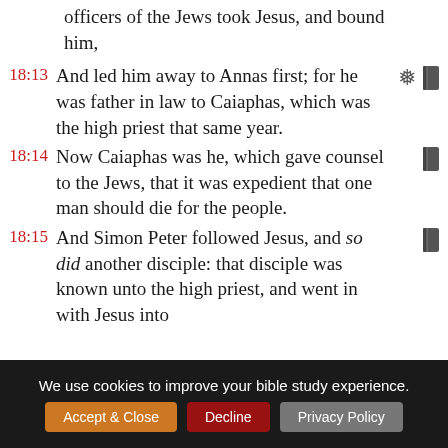officers of the Jews took Jesus, and bound him,
18:13 And led him away to Annas first; for he was father in law to Caiaphas, which was the high priest that same year.
18:14 Now Caiaphas was he, which gave counsel to the Jews, that it was expedient that one man should die for the people.
18:15 And Simon Peter followed Jesus, and so did another disciple: that disciple was known unto the high priest, and went in with Jesus into
We use cookies to improve your bible study experience.